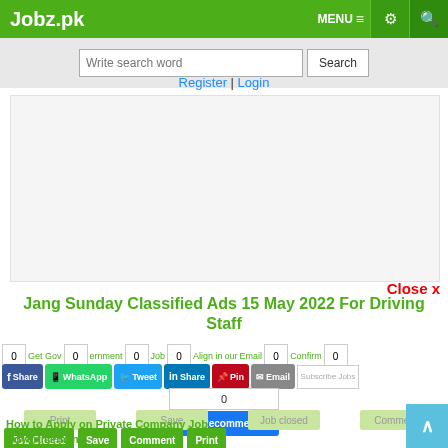Jobz.pk MENU
Write search word | Search
Register | Login
[Figure (other): Advertisement/blank area]
Close x
Jang Sunday Classified Ads 15 May 2022 For Driving Staff
0 Get 0 Government 0 Jobs 0 Alert in our 0 Email 0 Confirm 0
Share | WhatsApp | Tweet | Share | Pin | Email | Subscribe Jobs
0 Recommend
Print | Save | Job closed | Comment
Job Closed | Save | Comment | Print
How to Apply on Private Company Job Advertisement